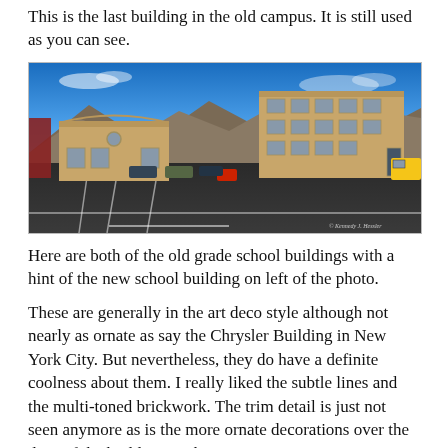This is the last building in the old campus. It is still used as you can see.
[Figure (photo): Exterior photograph of two old yellow-brick grade school buildings in art deco style, with mountains in the background, a parking lot in the foreground, a yellow school bus visible on the right, and a small red vehicle in the center. Blue sky with light clouds. Photographer watermark in lower right.]
Here are both of the old grade school buildings with a hint of the new school building on left of the photo.
These are generally in the art deco style although not nearly as ornate as say the Chrysler Building in New York City. But nevertheless, they do have a definite coolness about them. I really liked the subtle lines and the multi-toned brickwork. The trim detail is just not seen anymore as is the more ornate decorations over the door of the building on the